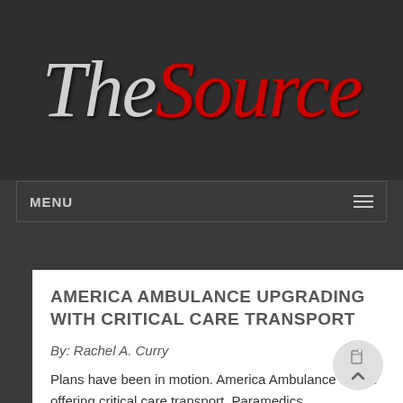The Source
MENU
AMERICA AMBULANCE UPGRADING WITH CRITICAL CARE TRANSPORT
By: Rachel A. Curry
Plans have been in motion. America Ambulance will be offering critical care transport. Paramedics